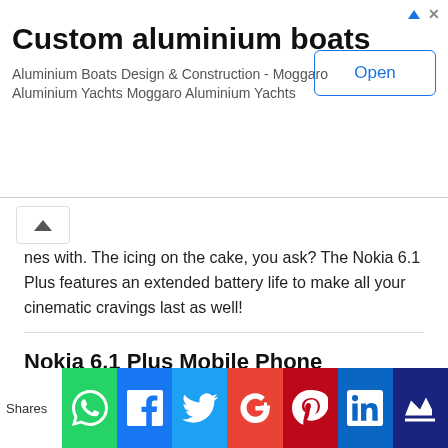[Figure (screenshot): Advertisement banner for Custom aluminium boats - Moggaro Aluminium Yachts with Open button]
nes with. The icing on the cake, you ask? The Nokia 6.1 Plus features an extended battery life to make all your cinematic cravings last as well!
Nokia 6.1 Plus Mobile Phone Information
Technical Details
| OS | Android |
| RAM | 4 GB |
[Figure (screenshot): Social media share bar with WhatsApp, Facebook, Twitter, Google+, Pinterest, LinkedIn, and crown icon buttons]